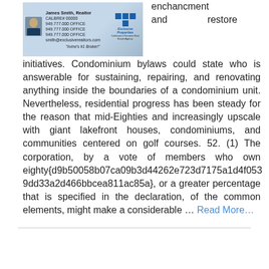[Figure (photo): Real estate advertisement showing James Smith Realtor with photo, contact information, and Exclusive Properties logo with tagline 'Irvine's #1 Broker!']
enchancment and restore initiatives. Condominium bylaws could state who is answerable for sustaining, repairing, and renovating anything inside the boundaries of a condominium unit. Nevertheless, residential progress has been steady for the reason that mid-Eighties and increasingly upscale with giant lakefront houses, condominiums, and communities centered on golf courses. 52. (1) The corporation, by a vote of members who own eighty{d9b50058b07ca09b3d44262e723d7175a1d4f0539dd33a2d466bbcea811ac85a}, or a greater percentage that is specified in the declaration, of the common elements, might make a considerable ... Read More...